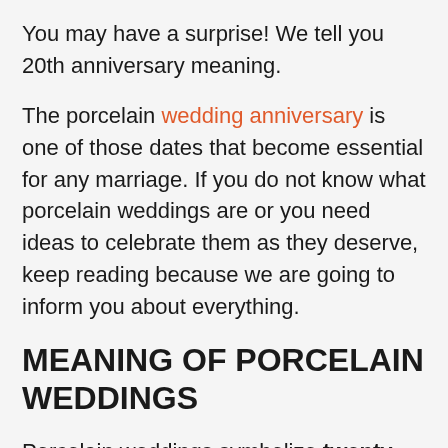You may have a surprise! We tell you 20th anniversary meaning.
The porcelain wedding anniversary is one of those dates that become essential for any marriage. If you do not know what porcelain weddings are or you need ideas to celebrate them as they deserve, keep reading because we are going to inform you about everything.
MEANING OF PORCELAIN WEDDINGS
Porcelain weddings symbolize twenty years of marriage . By now, the couple has more than demonstrated their strength and happiness and will surely serve as an example to the younger couples in